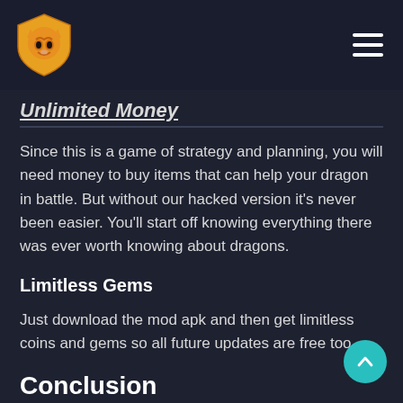Unlimited Money
Since this is a game of strategy and planning, you will need money to buy items that can help your dragon in battle. But without our hacked version it's never been easier. You'll start off knowing everything there was ever worth knowing about dragons.
Limitless Gems
Just download the mod apk and then get limitless coins and gems so all future updates are free too.
Conclusion
The best way to find yourself is by exploring the world of dragon Sim Mod Apk. Download this free game today for